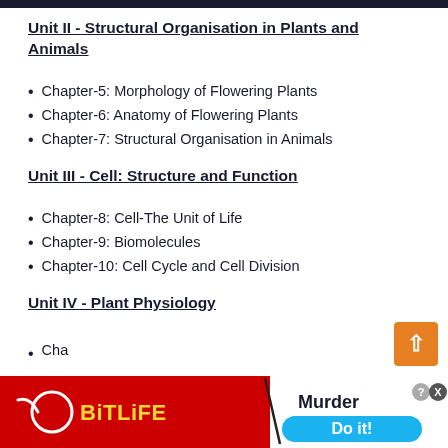Unit II - Structural Organisation in Plants and Animals
Chapter-5: Morphology of Flowering Plants
Chapter-6: Anatomy of Flowering Plants
Chapter-7: Structural Organisation in Animals
Unit III - Cell: Structure and Function
Chapter-8: Cell-The Unit of Life
Chapter-9: Biomolecules
Chapter-10: Cell Cycle and Cell Division
Unit IV - Plant Physiology
Cha[pter partially obscured by ad]
[Figure (screenshot): Advertisement overlay: BitLife app ad with red background, yellow BitLife logo text, murder-themed content on right side with 'Do it!' blue button, and partial close/info icons.]